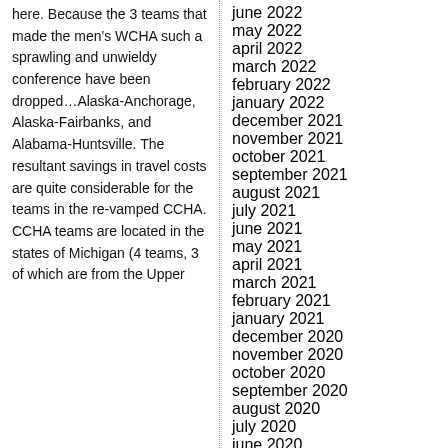here. Because the 3 teams that made the men's WCHA such a sprawling and unwieldy conference have been dropped…Alaska-Anchorage, Alaska-Fairbanks, and Alabama-Huntsville. The resultant savings in travel costs are quite considerable for the teams in the re-vamped CCHA. CCHA teams are located in the states of Michigan (4 teams, 3 of which are from the Upper
june 2022
may 2022
april 2022
march 2022
february 2022
january 2022
december 2021
november 2021
october 2021
september 2021
august 2021
july 2021
june 2021
may 2021
april 2021
march 2021
february 2021
january 2021
december 2020
november 2020
october 2020
september 2020
august 2020
july 2020
june 2020
may 2020
april 2020
march 2020
february 2020
january 2020
december 2019
november 2019
october 2019